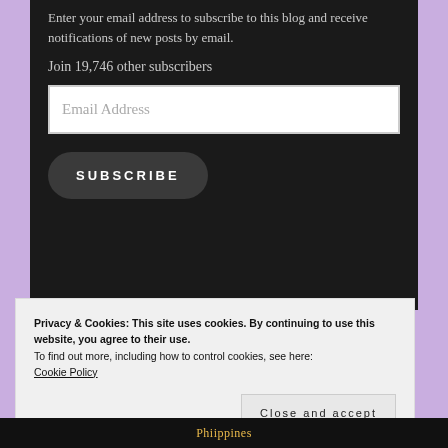Enter your email address to subscribe to this blog and receive notifications of new posts by email.
Join 19,746 other subscribers
Email Address
SUBSCRIBE
Privacy & Cookies: This site uses cookies. By continuing to use this website, you agree to their use.
To find out more, including how to control cookies, see here:
Cookie Policy
Close and accept
Philippines